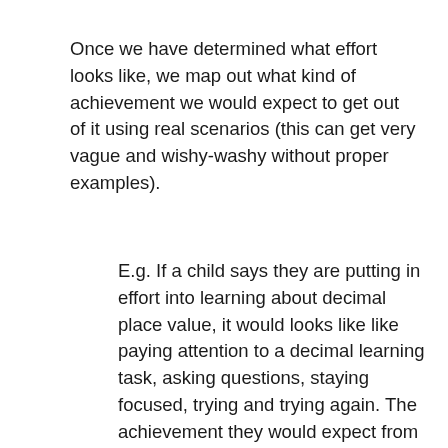Once we have determined what effort looks like, we map out what kind of achievement we would expect to get out of it using real scenarios (this can get very vague and wishy-washy without proper examples).
E.g. If a child says they are putting in effort into learning about decimal place value, it would looks like like paying attention to a decimal learning task, asking questions, staying focused, trying and trying again. The achievement they would expect from this level of effort is that after a time they would understand decimal place value, have evidence to show this and be able to discuss it.